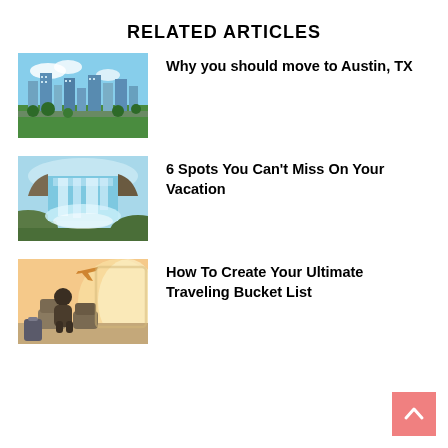RELATED ARTICLES
[Figure (photo): Aerial view of Austin TX cityscape with green trees and buildings]
Why you should move to Austin, TX
[Figure (photo): Aerial view of Niagara Falls waterfall]
6 Spots You Can't Miss On Your Vacation
[Figure (photo): Person sitting in airport lounge with airplane flying outside window]
How To Create Your Ultimate Traveling Bucket List